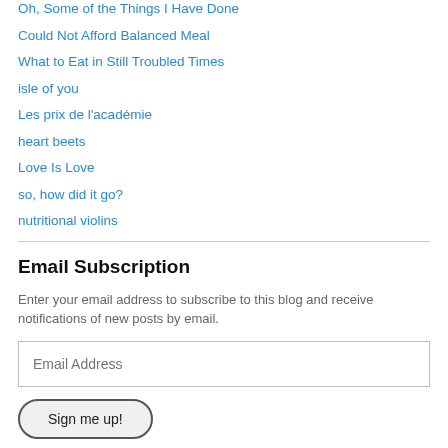Oh, Some of the Things I Have Done
Could Not Afford Balanced Meal
What to Eat in Still Troubled Times
isle of you
Les prix de l'académie
heart beets
Love Is Love
so, how did it go?
nutritional violins
Email Subscription
Enter your email address to subscribe to this blog and receive notifications of new posts by email.
Email Address
Sign me up!